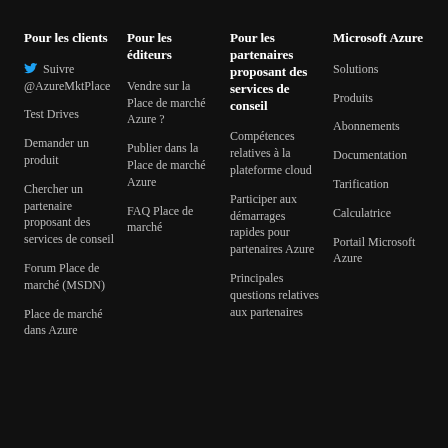Pour les clients
Pour les éditeurs
Pour les partenaires proposant des services de conseil
Microsoft Azure
Suivre @AzureMktPlace
Test Drives
Demander un produit
Chercher un partenaire proposant des services de conseil
Forum Place de marché (MSDN)
Place de marché dans Azure
Vendre sur la Place de marché Azure ?
Publier dans la Place de marché Azure
FAQ Place de marché
Compétences relatives à la plateforme cloud
Participer aux démarrages rapides pour partenaires Azure
Principales questions relatives aux partenaires
Solutions
Produits
Abonnements
Documentation
Tarification
Calculatrice
Portail Microsoft Azure